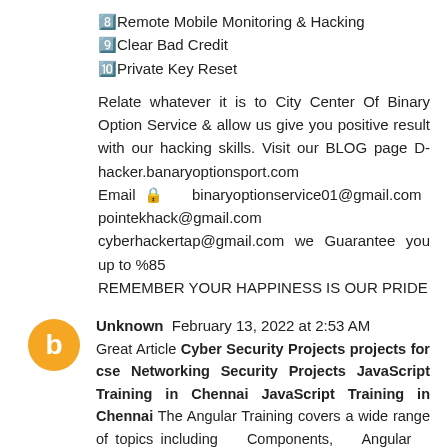8️⃣Remote Mobile Monitoring & Hacking
9️⃣Clear Bad Credit
🔟Private Key Reset
Relate whatever it is to City Center Of Binary Option Service & allow us give you positive result with our hacking skills. Visit our BLOG page D-hacker.banaryoptionsport.com
Email 🔒 binaryoptionservice01@gmail.com
pointekhack@gmail.com
cyberhackertap@gmail.com we Guarantee you up to %85
REMEMBER YOUR HAPPINESS IS OUR PRIDE
Unknown  February 13, 2022 at 2:53 AM
Great Article Cyber Security Projects projects for cse Networking Security Projects JavaScript Training in Chennai JavaScript Training in Chennai The Angular Training covers a wide range of topics including Components, Angular Directives, Angular Services, Pipes, security fundamentals,